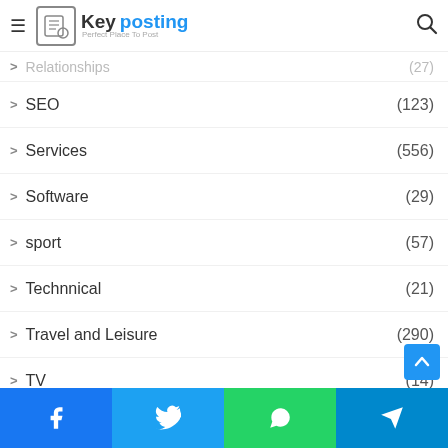Key posting – Perfect Place To Post
SEO (123)
Services (556)
Software (29)
sport (57)
Technnical (21)
Travel and Leisure (290)
TV (14)
Uncategorized (51)
Video (28)
Women's Interests (73)
Writing and Speaking (…)
Facebook | Twitter | WhatsApp | Telegram